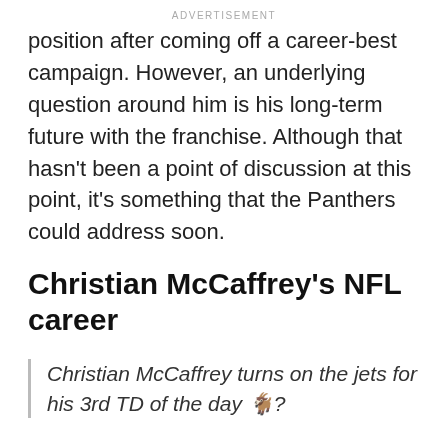ADVERTISEMENT
position after coming off a career-best campaign. However, an underlying question around him is his long-term future with the franchise. Although that hasn't been a point of discussion at this point, it's something that the Panthers could address soon.
Christian McCaffrey's NFL career
Christian McCaffrey turns on the jets for his 3rd TD of the day 🐐?